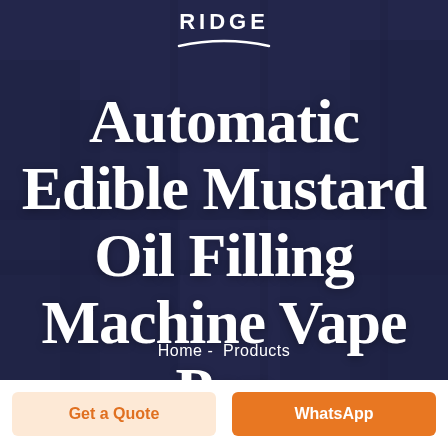[Figure (photo): Background photo of industrial filling/packaging machinery, overlaid with dark navy blue semi-transparent overlay. White logo text 'RIDGE' with arc underline at top center.]
Automatic Edible Mustard Oil Filling Machine Vape Pen
Home -  Products
Get a Quote
WhatsApp